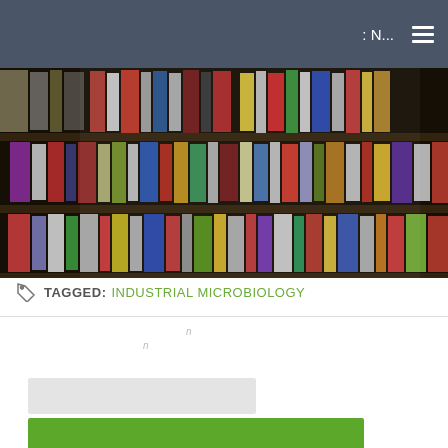: N...
[Figure (photo): Photograph of library bookshelves filled with colorful books, viewed from slightly below, out of focus background]
TAGGED: INDUSTRIAL MICROBIOLOGY
n
n
[Figure (other): Light gray search input bar and green search/submit button]